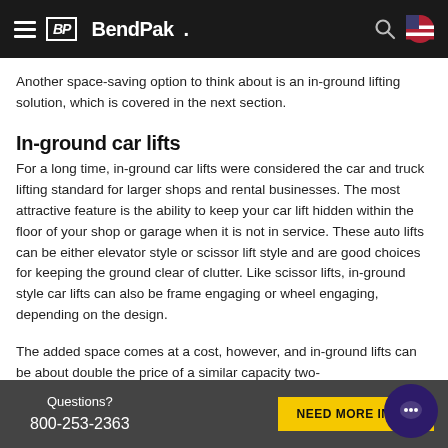BendPak
Another space-saving option to think about is an in-ground lifting solution, which is covered in the next section.
In-ground car lifts
For a long time, in-ground car lifts were considered the car and truck lifting standard for larger shops and rental businesses. The most attractive feature is the ability to keep your car lift hidden within the floor of your shop or garage when it is not in service. These auto lifts can be either elevator style or scissor lift style and are good choices for keeping the ground clear of clutter. Like scissor lifts, in-ground style car lifts can also be frame engaging or wheel engaging, depending on the design.
The added space comes at a cost, however, and in-ground lifts can be about double the price of a similar capacity two-post lifting solution. Additionally, in-ground lifts...
Questions? 800-253-2363 NEED MORE INFO?